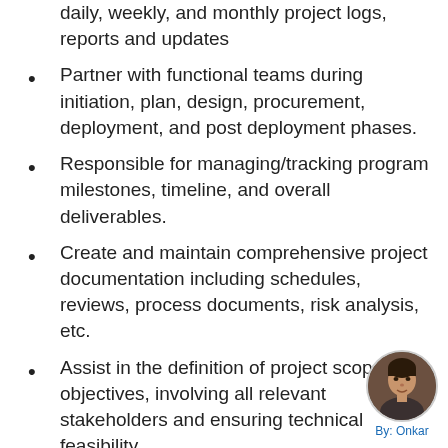daily, weekly, and monthly project logs, reports and updates
Partner with functional teams during initiation, plan, design, procurement, deployment, and post deployment phases.
Responsible for managing/tracking program milestones, timeline, and overall deliverables.
Create and maintain comprehensive project documentation including schedules, reviews, process documents, risk analysis, etc.
Assist in the definition of project scope and objectives, involving all relevant stakeholders and ensuring technical feasibility.
Drive project life-cycle milestones from concept commit through project closure and
[Figure (photo): Circular avatar photo of a person, with 'By: Onkar' label below]
By: Onkar